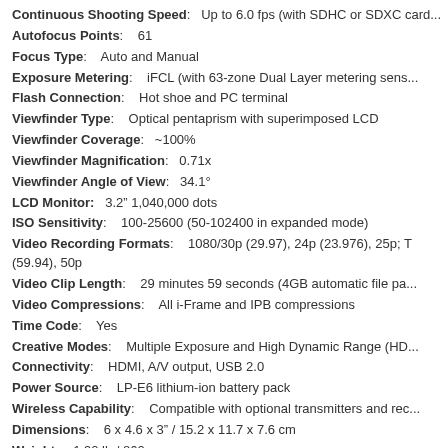Continuous Shooting Speed: Up to 6.0 fps (with SDHC or SDXC card...
Autofocus Points: 61
Focus Type: Auto and Manual
Exposure Metering: iFCL (with 63-zone Dual Layer metering sens...
Flash Connection: Hot shoe and PC terminal
Viewfinder Type: Optical pentaprism with superimposed LCD
Viewfinder Coverage: ~100%
Viewfinder Magnification: 0.71x
Viewfinder Angle of View: 34.1°
LCD Monitor: 3.2" 1,040,000 dots
ISO Sensitivity: 100-25600 (50-102400 in expanded mode)
Video Recording Formats: 1080/30p (29.97), 24p (23.976), 25p; (59.94), 50p
Video Clip Length: 29 minutes 59 seconds (4GB automatic file pa...
Video Compressions: All i-Frame and IPB compressions
Time Code: Yes
Creative Modes: Multiple Exposure and High Dynamic Range (HD...
Connectivity: HDMI, A/V output, USB 2.0
Power Source: LP-E6 lithium-ion battery pack
Wireless Capability: Compatible with optional transmitters and rec...
Dimensions: 6 x 4.6 x 3" / 15.2 x 11.7 x 7.6 cm
Weight: 1.90 lb / 860 g